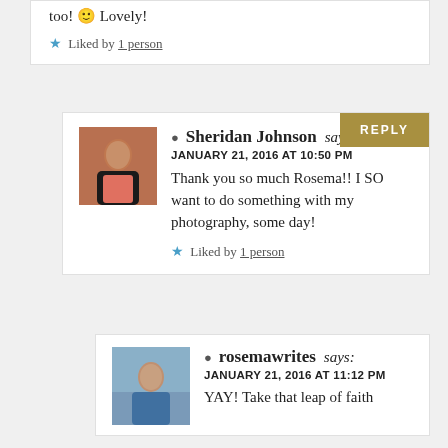too! 🙂 Lovely!
★ Liked by 1 person
👤 Sheridan Johnson says: JANUARY 21, 2016 AT 10:50 PM Thank you so much Rosema!! I SO want to do something with my photography, some day!
★ Liked by 1 person
👤 rosemawrites says: JANUARY 21, 2016 AT 11:12 PM YAY! Take that leap of faith